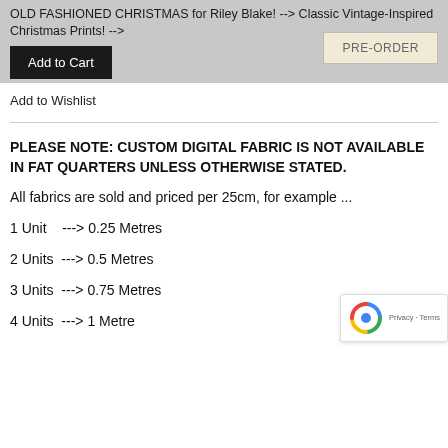OLD FASHIONED CHRISTMAS for Riley Blake! --> Classic Vintage-Inspired Christmas Prints! -->
Add to Cart
PRE-ORDER
Add to Wishlist
PLEASE NOTE:  CUSTOM DIGITAL FABRIC IS NOT AVAILABLE IN FAT QUARTERS UNLESS OTHERWISE STATED.
All fabrics are sold and priced per 25cm, for example ...
1 Unit    ---> 0.25 Metres
2 Units  ---> 0.5 Metres
3 Units  ---> 0.75 Metres
4 Units  ---> 1 Metre